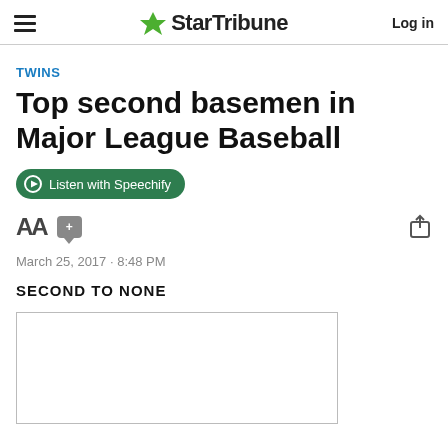StarTribune — Log in
TWINS
Top second basemen in Major League Baseball
Listen with Speechify
March 25, 2017 · 8:48 PM
SECOND TO NONE
[Figure (photo): Empty image placeholder box]